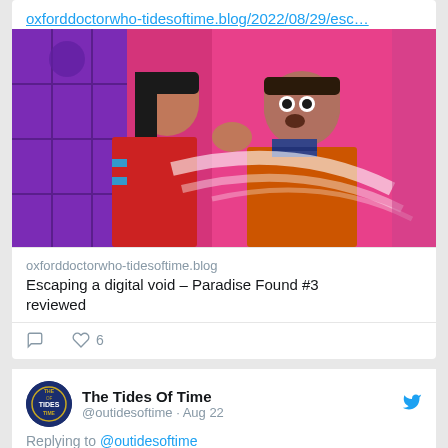oxforddoctorwho-tidesoftime.blog/2022/08/29/esc…
[Figure (illustration): Comic book artwork showing two characters facing each other — a woman with dark hair in a red outfit on the left, and a man in an orange/red jacket with a surprised expression on the right, set against a purple and pink background with diagonal white streaks]
oxforddoctorwho-tidesoftime.blog
Escaping a digital void – Paradise Found #3 reviewed
6
The Tides Of Time
@outidesoftime · Aug 22
Replying to @outidesoftime